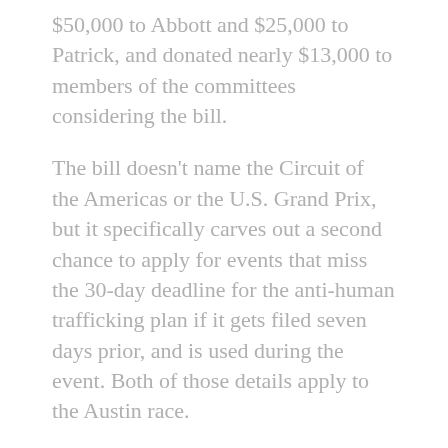$50,000 to Abbott and $25,000 to Patrick, and donated nearly $13,000 to members of the committees considering the bill.
The bill doesn't name the Circuit of the Americas or the U.S. Grand Prix, but it specifically carves out a second chance to apply for events that miss the 30-day deadline for the anti-human trafficking plan if it gets filed seven days prior, and is used during the event. Both of those details apply to the Austin race.
State Rep. John Frullo, who authored the bill, lives in Lubbock, about 400 miles from the racetrack. He said he wasn't asked by anyone at the Circuit of the Americas to make the change. Frullo said his interest is in preventing human-trafficking and didn't want to see a major event like the U.S. Grand Prix get wiped out by a paperwork error.
Keeping F1's only U.S. race viable is important, he